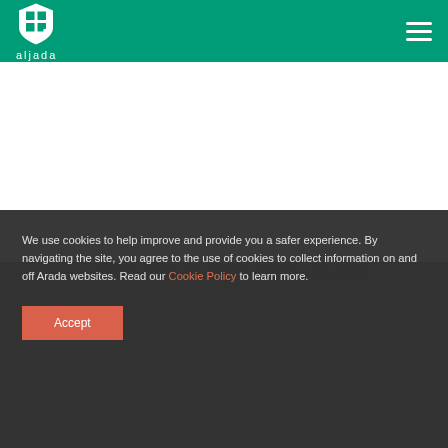aljada
[Figure (logo): Aljada shield logo and wordmark on green header bar]
Error 404 - Page Not Found
We use cookies to help improve and provide you a safer experience. By navigating the site, you agree to the use of cookies to collect information on and off Arada websites. Read our Cookie Policy to learn more.
Accept